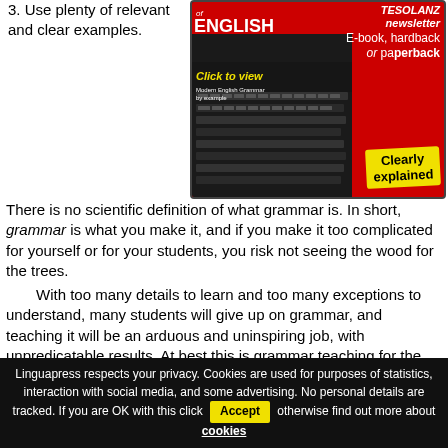3. Use plenty of relevant and clear examples.
[Figure (illustration): Advertisement for 'Grammar of English' book/e-book. Red background with keyboard image. Shows 'TESOLANZ newsletter', 'E-book, hardback or paperback', 'Click to view', 'Clearly explained', 'Modern English Grammar by example'.]
There is no scientific definition of what grammar is. In short, grammar is what you make it, and if you make it too complicated for yourself or for your students, you risk not seeing the wood for the trees.
With too many details to learn and too many exceptions to understand, many students will give up on grammar, and teaching it will be an arduous and uninspiring job, with unpredicatable results. At best this is grammar teaching for the elite, where the best students in a class may take it all in, but the majority of students will find it
Linguapress respects your privacy. Cookies are used for purposes of statistics, interaction with social media, and some advertising. No personal details are tracked. If you are OK with this click Accept otherwise find out more about cookies